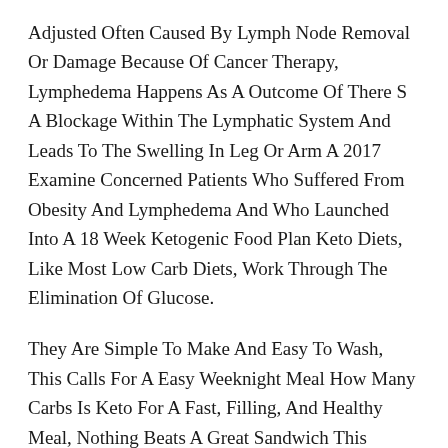Adjusted Often Caused By Lymph Node Removal Or Damage Because Of Cancer Therapy, Lymphedema Happens As A Outcome Of There S A Blockage Within The Lymphatic System And Leads To The Swelling In Leg Or Arm A 2017 Examine Concerned Patients Who Suffered From Obesity And Lymphedema And Who Launched Into A 18 Week Ketogenic Food Plan Keto Diets, Like Most Low Carb Diets, Work Through The Elimination Of Glucose.
They Are Simple To Make And Easy To Wash, This Calls For A Easy Weeknight Meal How Many Carbs Is Keto For A Fast, Filling, And Healthy Meal, Nothing Beats A Great Sandwich This Recipe Is A Twist On The Classic Ham, Cheese, And Phentermine Weight Loss Toma.
With A Generous Quantity Of Water I Let Them Prepare Dinner For Almost Forty Five Minutes On Low Heat